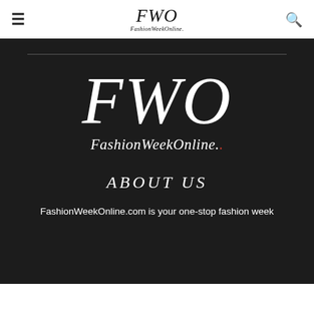FWO FashionWeekOnline.
[Figure (logo): FWO FashionWeekOnline large centered logo in white on dark background]
ABOUT US
FashionWeekOnline.com is your one-stop fashion week